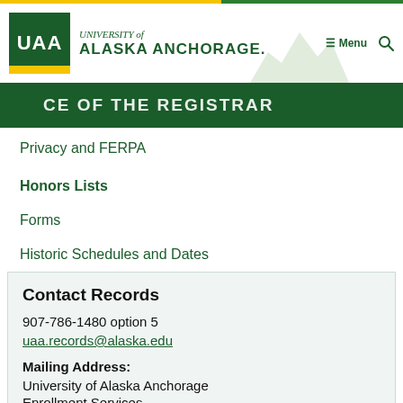[Figure (logo): University of Alaska Anchorage logo with green box and UAA text]
UNIVERSITY of ALASKA ANCHORAGE.
OF THE REGISTRAR
Privacy and FERPA
Honors Lists
Forms
Historic Schedules and Dates
Contact Records
907-786-1480 option 5
uaa.records@alaska.edu
Mailing Address:
University of Alaska Anchorage
Enrollment Services